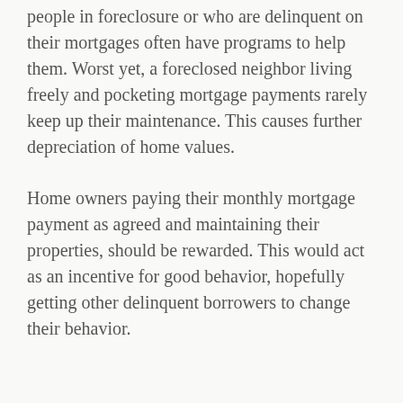people in foreclosure or who are delinquent on their mortgages often have programs to help them. Worst yet, a foreclosed neighbor living freely and pocketing mortgage payments rarely keep up their maintenance. This causes further depreciation of home values.
Home owners paying their monthly mortgage payment as agreed and maintaining their properties, should be rewarded. This would act as an incentive for good behavior, hopefully getting other delinquent borrowers to change their behavior.